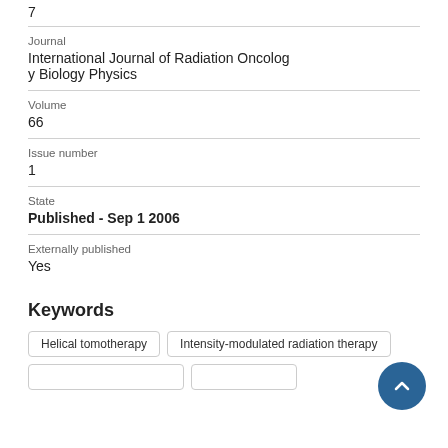7
Journal
International Journal of Radiation Oncology Biology Physics
Volume
66
Issue number
1
State
Published - Sep 1 2006
Externally published
Yes
Keywords
Helical tomotherapy
Intensity-modulated radiation therapy